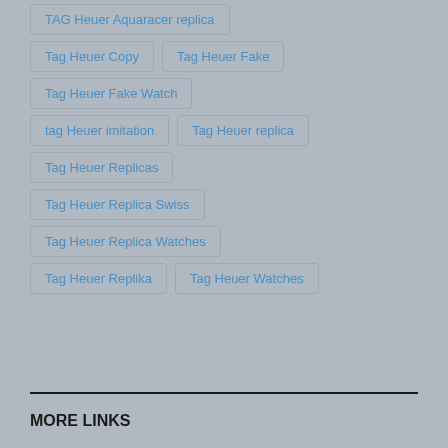TAG Heuer Aquaracer replica
Tag Heuer Copy
Tag Heuer Fake
Tag Heuer Fake Watch
tag Heuer imitation
Tag Heuer replica
Tag Heuer Replicas
Tag Heuer Replica Swiss
Tag Heuer Replica Watches
Tag Heuer Replika
Tag Heuer Watches
MORE LINKS